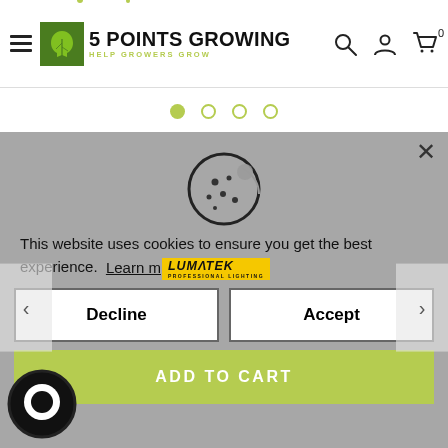5 POINTS GROWING - HELP GROWERS GROW
[Figure (screenshot): Carousel navigation dots: one filled green dot followed by three empty circle dots]
[Figure (screenshot): Cookie consent overlay with cookie icon, message: 'This website uses cookies to ensure you get the best experience. Learn more', Decline and Accept buttons, ADD TO CART button, and Lumatek Professional Lighting logo overlay. Slide navigation arrows on sides. Chat bubble bottom left.]
This website uses cookies to ensure you get the best experience.  Learn more
Decline
Accept
ADD TO CART